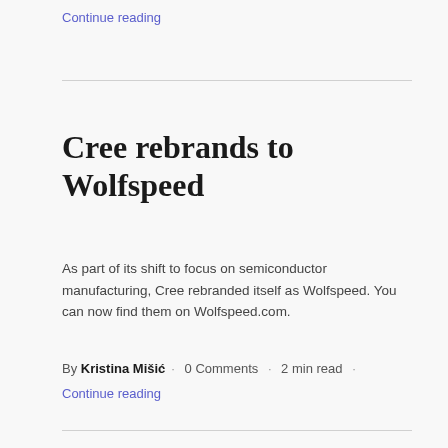Continue reading
Cree rebrands to Wolfspeed
As part of its shift to focus on semiconductor manufacturing, Cree rebranded itself as Wolfspeed. You can now find them on Wolfspeed.com.
By Kristina Mišić · 0 Comments · 2 min read ·
Continue reading